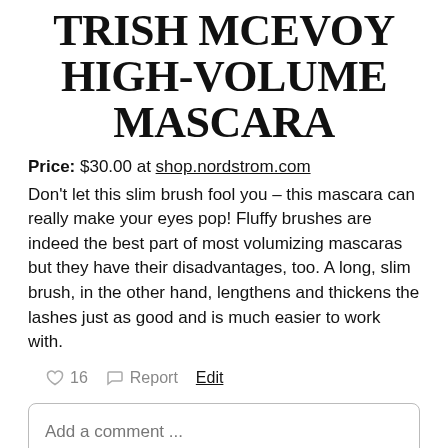TRISH MCEVOY HIGH-VOLUME MASCARA
Price: $30.00 at shop.nordstrom.com
Don’t let this slim brush fool you – this mascara can really make your eyes pop! Fluffy brushes are indeed the best part of most volumizing mascaras but they have their disadvantages, too. A long, slim brush, in the other hand, lengthens and thickens the lashes just as good and is much easier to work with.
♥ 16  ⚑ Report  Edit
Add a comment ...